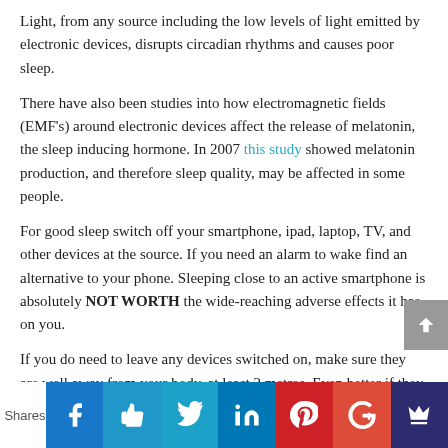Light, from any source including the low levels of light emitted by electronic devices, disrupts circadian rhythms and causes poor sleep.
There have also been studies into how electromagnetic fields (EMF's) around electronic devices affect the release of melatonin, the sleep inducing hormone. In 2007 this study showed melatonin production, and therefore sleep quality, may be affected in some people.
For good sleep switch off your smartphone, ipad, laptop, TV, and other devices at the source. If you need an alarm to wake find an alternative to your phone. Sleeping close to an active smartphone is absolutely NOT WORTH the wide-reaching adverse effects it has on you.
If you do need to leave any devices switched on, make sure they are well away from your body, at least 2 metres. Even better if they are right across the room or in the en suite.
Shares | Facebook | Like | Twitter | LinkedIn | Pinterest | Google+ | Crown